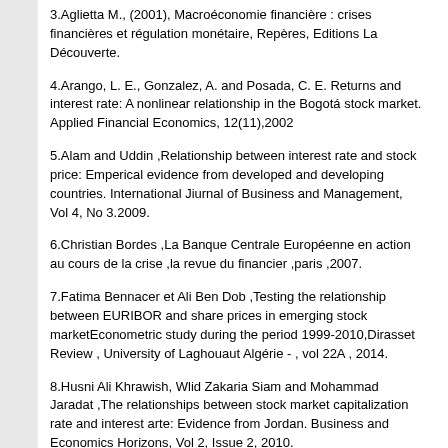3.Aglietta M., (2001), Macroéconomie financière : crises financières et régulation monétaire, Repères, Editions La Découverte.
4.Arango, L. E., Gonzalez, A. and Posada, C. E. Returns and interest rate: A nonlinear relationship in the Bogotá stock market. Applied Financial Economics, 12(11),2002
5.Alam and Uddin ,Relationship between interest rate and stock price: Emperical evidence from developed and developing countries. International Jiurnal of Business and Management, Vol 4, No 3.2009.
6.Christian Bordes ,La Banque Centrale Européenne en action au cours de la crise ,la revue du financier ,paris ,2007.
7.Fatima Bennacer et Ali Ben Dob ,Testing the relationship between EURIBOR and share prices in emerging stock marketEconometric study during the period 1999-2010,Dirasset Review , University of Laghouaut Algérie - , vol 22A , 2014.
8.Husni Ali Khrawish, Wlid Zakaria Siam and Mohammad Jaradat ,The relationships between stock market capitalization rate and interest arte: Evidence from Jordan. Business and Economics Horizons, Vol 2, Issue 2, 2010.
9.Harasty, H. and Roulet, J. Modeling Stock Market